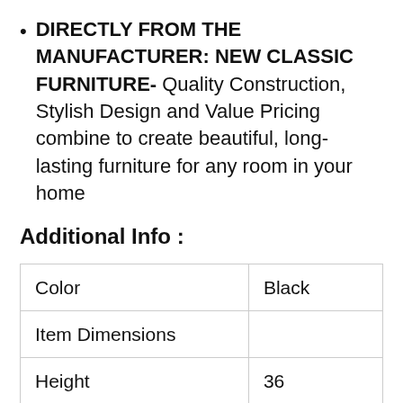DIRECTLY FROM THE MANUFACTURER: NEW CLASSIC FURNITURE- Quality Construction, Stylish Design and Value Pricing combine to create beautiful, long-lasting furniture for any room in your home
Additional Info :
| Color | Black |
| Item Dimensions |  |
| Height | 36 |
| Width | 20 |
| Length | 60 |